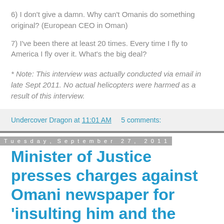6) I don't give a damn. Why can't Omanis do something original? (European CEO in Oman)
7) I've been there at least 20 times. Every time I fly to America I fly over it. What's the big deal?
* Note: This interview was actually conducted via email in late Sept 2011. No actual helicopters were harmed as a result of this interview.
Undercover Dragon at 11:01 AM     5 comments:
Tuesday, September 27, 2011
Minister of Justice presses charges against Omani newspaper for 'insulting him and the Ministry'. Courts order shutdown and jail 2 journalists